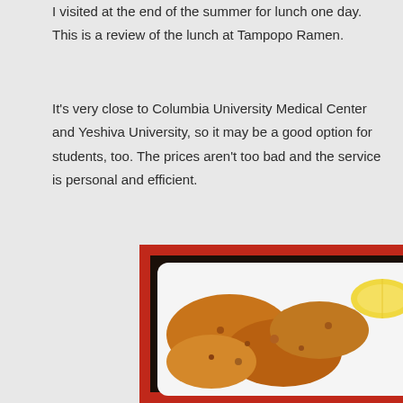I visited at the end of the summer for lunch one day. This is a review of the lunch at Tampopo Ramen.
It's very close to Columbia University Medical Center and Yeshiva University, so it may be a good option for students, too. The prices aren't too bad and the service is personal and efficient.
[Figure (photo): Photo of a Japanese lunch set meal on a red tray: a white plate with fried chicken pieces (karaage) and a lemon wedge on the left, a black bowl with salad (red cabbage and vegetables with dressing) in the upper right, and a large black bowl heaped with white rice sprinkled with sesame seeds in the lower right, with some green garnish visible.]